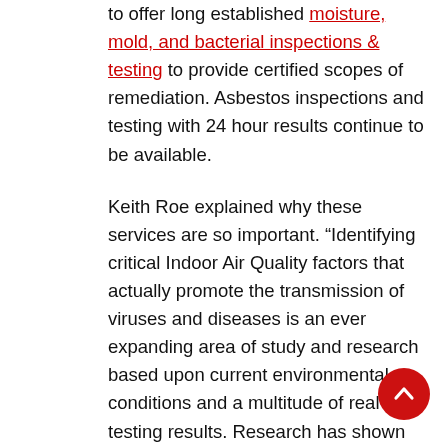to offer long established moisture, mold, and bacterial inspections & testing to provide certified scopes of remediation. Asbestos inspections and testing with 24 hour results continue to be available.
Keith Roe explained why these services are so important. “Identifying critical Indoor Air Quality factors that actually promote the transmission of viruses and diseases is an ever expanding area of study and research based upon current environmental conditions and a multitude of real-time testing results. Research has shown that the quality of the air we breath and the transmission of viruses and diseases are very closely related.”
Prior to the arrival of covid-19, air pollution and poor indoor air quality had been linked to higher